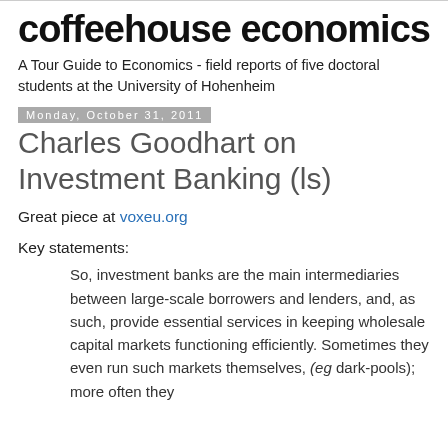coffeehouse economics
A Tour Guide to Economics - field reports of five doctoral students at the University of Hohenheim
Monday, October 31, 2011
Charles Goodhart on Investment Banking (ls)
Great piece at voxeu.org
Key statements:
So, investment banks are the main intermediaries between large-scale borrowers and lenders, and, as such, provide essential services in keeping wholesale capital markets functioning efficiently. Sometimes they even run such markets themselves, (eg dark-pools); more often they